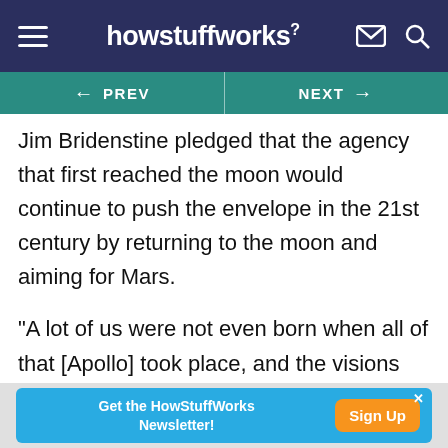howstuffworks
← PREV | NEXT →
Jim Bridenstine pledged that the agency that first reached the moon would continue to push the envelope in the 21st century by returning to the moon and aiming for Mars.
"A lot of us were not even born when all of that [Apollo] took place, and the visions that have come since then have not always materialized," Bridenstine said. "But because those visions existed, we at this point in history have more opportunity to
Get the HowStuffWorks Newsletter! Sign Up